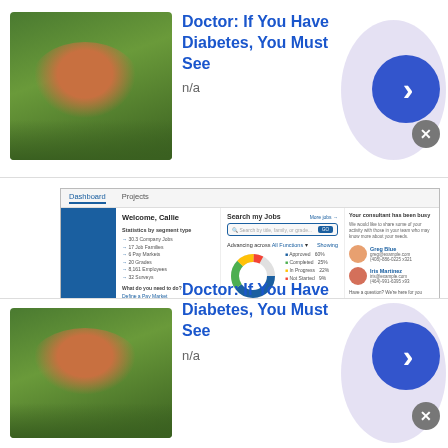[Figure (screenshot): Advertisement banner: 'Doctor: If You Have Diabetes, You Must See' with mushroom/herb image, blue arrow button, close button]
[Figure (screenshot): Screenshot of a job search dashboard UI labeled 'Welcome, Callie' with search bar, donut chart, stats, and contact info]
[Figure (illustration): About China section header with book icon and title 'About China']
China's landscape is vast and diverse, ranging from the Gobi [tropical], Pamir [much] ers, th
This site uses cookies and other similar technologies to provide site functionality, analyze traffic and usage, and deliver a personalised experience.
[Figure (screenshot): Bottom advertisement banner: 'Doctor: If You Have Diabetes, You Must See' with mushroom/herb image, blue arrow button, close button]